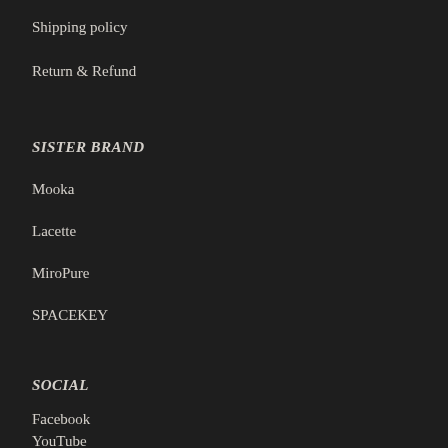Shipping policy
Return & Refund
SISTER BRAND
Mooka
Lacette
MiroPure
SPACEKEY
SOCIAL
Facebook
YouTube